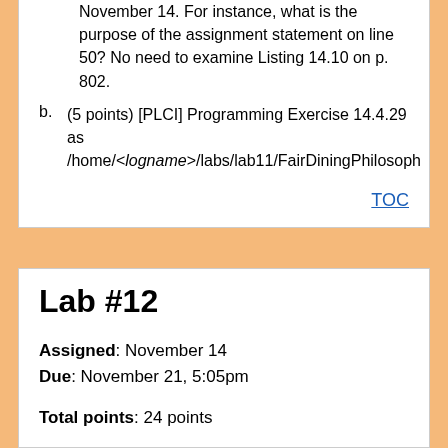November 14. For instance, what is the purpose of the assignment statement on line 50? No need to examine Listing 14.10 on p. 802.
b. (5 points) [PLCI] Programming Exercise 14.4.29 as /home/<logname>/labs/lab11/FairDiningPhilosoph
TOC
Lab #12
Assigned: November 14
Due: November 21, 5:05pm
Total points: 24 points
Style guide | Academic Integrity | Evaluation Criteria